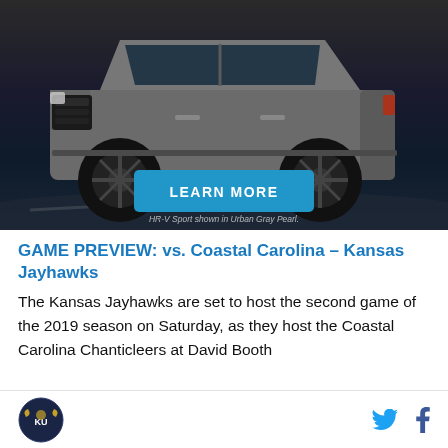[Figure (photo): Honda HR-V Sport SUV advertisement photo showing a dark gray SUV on a dark road with a blue 'LEARN MORE' button and caption 'HR-V Sport shown in Urban Gray Pearl.']
GAME PREVIEW: vs. Coastal Carolina – Kansas Jayhawks
The Kansas Jayhawks are set to host the second game of the 2019 season on Saturday, as they host the Coastal Carolina Chanticleers at David Booth
[Logo] [Twitter icon] [Facebook icon]